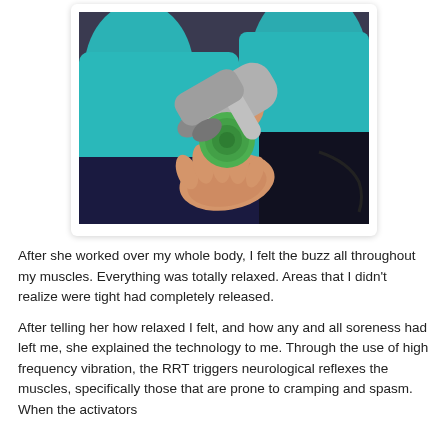[Figure (photo): A person in a teal/turquoise long-sleeve shirt holding a massage gun device (with a green round attachment head) in their hands, demonstrating the RRT vibration therapy tool. Dark background.]
After she worked over my whole body, I felt the buzz all throughout my muscles. Everything was totally relaxed. Areas that I didn't realize were tight had completely released.
After telling her how relaxed I felt, and how any and all soreness had left me, she explained the technology to me. Through the use of high frequency vibration, the RRT triggers neurological reflexes the muscles, specifically those that are prone to cramping and spasm. When the activators